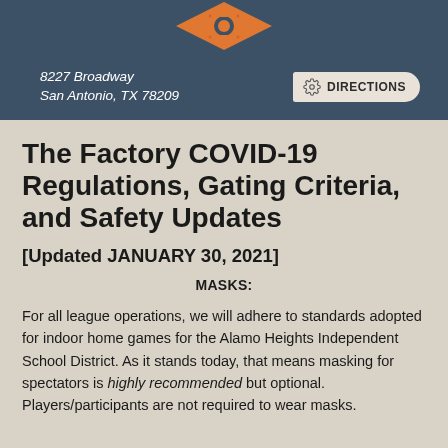[Figure (logo): The Factory logo - orange gear/diamond shape at top of dark blue-grey header]
8227 Broadway
San Antonio, TX 78209
DIRECTIONS
The Factory COVID-19 Regulations, Gating Criteria, and Safety Updates
[Updated JANUARY 30, 2021]
MASKS:
For all league operations, we will adhere to standards adopted for indoor home games for the Alamo Heights Independent School District.  As it stands today, that means masking for spectators is highly recommended but optional. Players/participants are not required to wear masks.